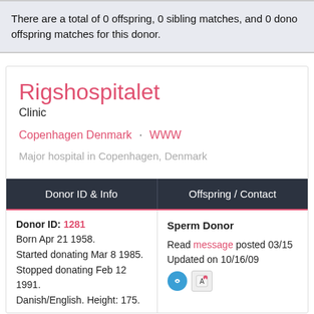There are a total of 0 offspring, 0 sibling matches, and 0 donor offspring matches for this donor.
Rigshospitalet
Clinic
Copenhagen Denmark · WWW
Major hospital in Copenhagen, Denmark
| Donor ID & Info | Offspring / Contact |
| --- | --- |
| Donor ID: 1281
Born Apr 21 1958.
Started donating Mar 8 1985.
Stopped donating Feb 12 1991.
Danish/English. Height: 175. | Sperm Donor
Read message posted 03/15
Updated on 10/16/09 |